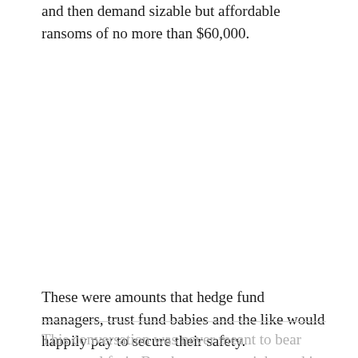and then demand sizable but affordable ransoms of no more than $60,000.
These were amounts that hedge fund managers, trust fund babies and the like would happily pay to secure their safety.
This conversation was never meant to bear any actual fruit. But the economy tightened its grip and this grow of